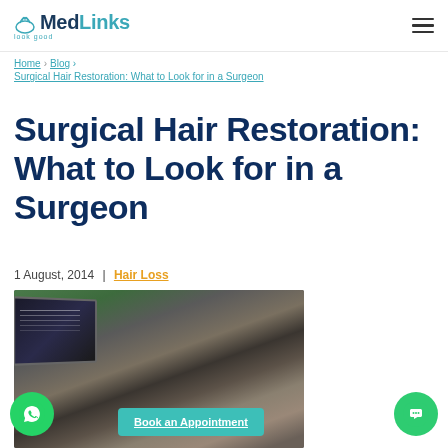MedLinks look good
Home > Blog > Surgical Hair Restoration: What to Look for in a Surgeon
Surgical Hair Restoration: What to Look for in a Surgeon
1 August, 2014 | Hair Loss
[Figure (photo): A patient consultation scene showing a man seated while a doctor examines his scalp, with a monitor displaying hair images in the background]
Book an Appointment